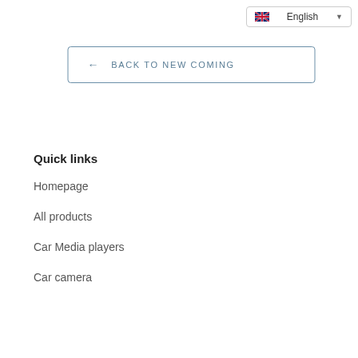English
← BACK TO NEW COMING
Quick links
Homepage
All products
Car Media players
Car camera